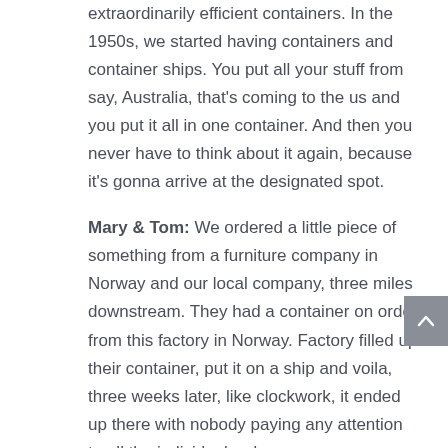extraordinarily efficient containers. In the 1950s, we started having containers and container ships. You put all your stuff from say, Australia, that's coming to the us and you put it all in one container. And then you never have to think about it again, because it's gonna arrive at the designated spot.
Mary & Tom: We ordered a little piece of something from a furniture company in Norway and our local company, three miles downstream. They had a container on order from this factory in Norway. Factory filled up their container, put it on a ship and voila, three weeks later, like clockwork, it ended up there with nobody paying any attention to all the individual orders.
Mary & Tom: If you think about that concept,